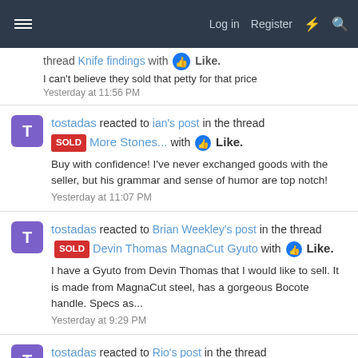Log in  Register
thread Knife findings with Like.
I can't believe they sold that petty for that price
Yesterday at 11:56 PM
tostadas reacted to ian's post in the thread SOLD More Stones... with Like.
Buy with confidence! I've never exchanged goods with the seller, but his grammar and sense of humor are top notch!
Yesterday at 11:07 PM
tostadas reacted to Brian Weekley's post in the thread SOLD Devin Thomas MagnaCut Gyuto with Like.
I have a Gyuto from Devin Thomas that I would like to sell. It is made from MagnaCut steel, has a gorgeous Bocote handle. Specs as...
Yesterday at 9:29 PM
tostadas reacted to Rio's post in the thread